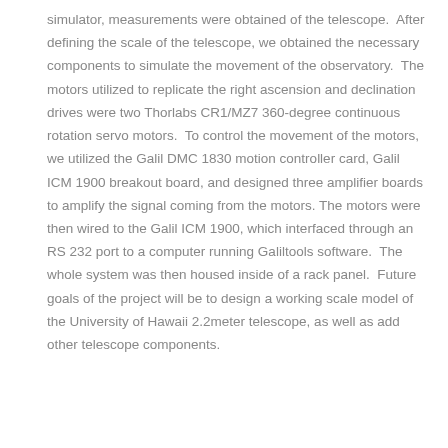simulator, measurements were obtained of the telescope. After defining the scale of the telescope, we obtained the necessary components to simulate the movement of the observatory. The motors utilized to replicate the right ascension and declination drives were two Thorlabs CR1/MZ7 360-degree continuous rotation servo motors. To control the movement of the motors, we utilized the Galil DMC 1830 motion controller card, Galil ICM 1900 breakout board, and designed three amplifier boards to amplify the signal coming from the motors. The motors were then wired to the Galil ICM 1900, which interfaced through an RS 232 port to a computer running Galiltools software. The whole system was then housed inside of a rack panel. Future goals of the project will be to design a working scale model of the University of Hawaii 2.2meter telescope, as well as add other telescope components.